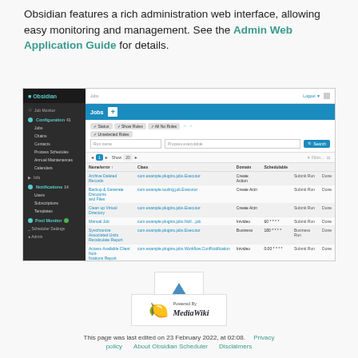Obsidian features a rich administration web interface, allowing easy monitoring and management. See the Admin Web Application Guide for details.
[Figure (screenshot): Screenshot of Obsidian admin web interface showing Jobs configuration page with a sidebar navigation, jobs list table with columns for Name, Class, Domain, Schedule, and action buttons.]
[Figure (illustration): Up arrow icon in a white box]
[Figure (logo): Powered By MediaWiki badge with sunflower logo]
This page was last edited on 23 February 2022, at 02:08.   Privacy policy   About Obsidian Scheduler   Disclaimers